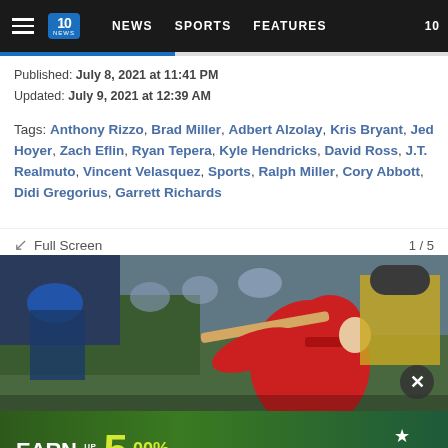10 NEWS | NEWS | SPORTS | FEATURES | 10
Published: July 8, 2021 at 11:41 PM
Updated: July 9, 2021 at 12:39 AM
Tags: Anthony Rizzo, Brad Miller, Adbert Alzolay, Kris Bryant, Jed Hoyer, Zach Eflin, Ryan Tepera, Kyle Hendricks, David Ross, J.T. Realmuto, Vincent Velasquez, Sports, Ralph Miller, Cory Abbott, Didi Gregorius, Garrett Richards
Full Screen   1 / 5
[Figure (photo): Baseball player in red Phillies uniform swinging a bat at a game, with spectators in the background]
[Figure (infographic): Advertisement: EARN UP TO 5.00% APY* ON CHECKING - Freedom First. *Annual Percentage Yield. Federally Insured by NCUA.]